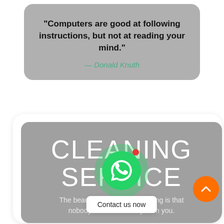“Computers are good at following instructions, but not at reading your mind.”
— Donald Knuth
CLEANING SERVICE
Contact us now
The beautiful thin… learning is that nobody can t… ay from you.